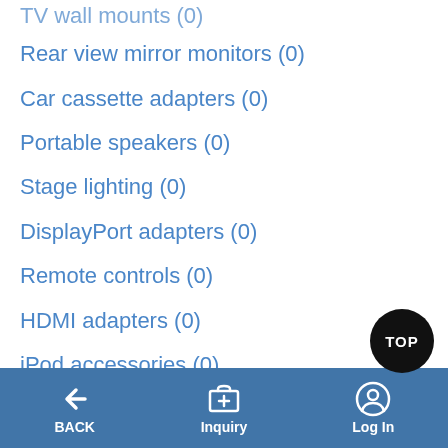TV wall mounts (0)
Rear view mirror monitors (0)
Car cassette adapters (0)
Portable speakers (0)
Stage lighting (0)
DisplayPort adapters (0)
Remote controls (0)
HDMI adapters (0)
iPod accessories (0)
DVB-T antennas (0)
Video game cable assemblies (0)
Wired earphones (0)
Digital Photo Frame (0)
Wireless handheld microphones (0)
BACK  Inquiry  Log In